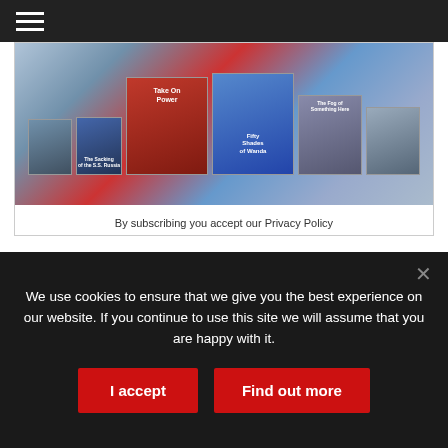Navigation menu (hamburger icon)
[Figure (illustration): Magazine subscription banner showing multiple magazine covers arranged in a fan/row display]
By subscribing you accept our Privacy Policy
LATEST NEWS | POPULAR | COMMENTS
[Figure (photo): News article image placeholder (white/grey rectangle)]
We use cookies to ensure that we give you the best experience on our website. If you continue to use this site we will assume that you are happy with it.
I accept
Find out more